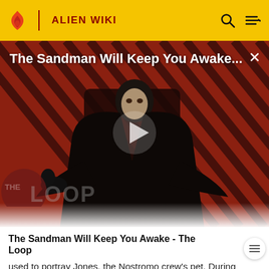ALIEN WIKI
[Figure (screenshot): Video thumbnail for 'The Sandman Will Keep You Awake - The Loop' showing a dark-cloaked figure against a red and black diagonal striped background, with a play button overlay and THE LOOP watermark]
The Sandman Will Keep You Awake - The Loop
used to portray Jones, the Nostromo crew's pet. During filming Sigourney Weaver discovered that she was allergic to the combination of cat hair and the glycerin placed on the actors' skin to make them appear sweaty